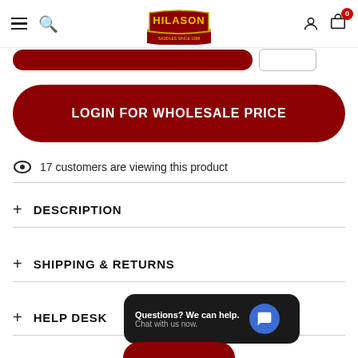HILASON header navigation with hamburger menu, search, logo, user icon, and cart (0)
LOGIN FOR WHOLESALE PRICE
17 customers are viewing this product
+ DESCRIPTION
+ SHIPPING & RETURNS
+ HELP DESK
Questions? We can help. Chat with us now.